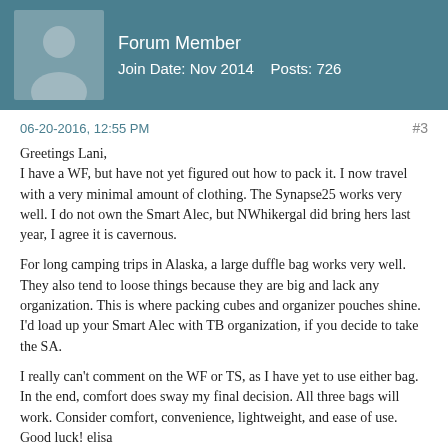Forum Member
Join Date: Nov 2014    Posts: 726
06-20-2016, 12:55 PM
#3

Greetings Lani,
I have a WF, but have not yet figured out how to pack it. I now travel with a very minimal amount of clothing. The Synapse25 works very well. I do not own the Smart Alec, but NWhikergal did bring hers last year, I agree it is cavernous.

For long camping trips in Alaska, a large duffle bag works very well. They also tend to loose things because they are big and lack any organization. This is where packing cubes and organizer pouches shine. I'd load up your Smart Alec with TB organization, if you decide to take the SA.

I really can't comment on the WF or TS, as I have yet to use either bag. In the end, comfort does sway my final decision. All three bags will work. Consider comfort, convenience, lightweight, and ease of use. Good luck! elisa
afsheen